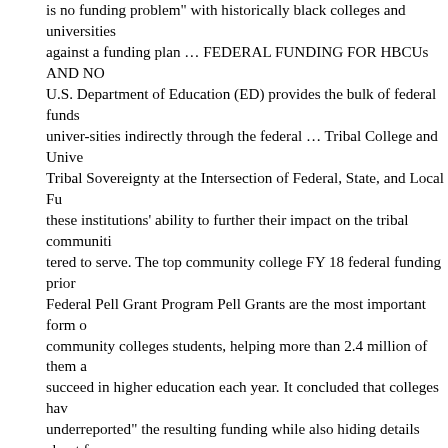is no funding problem" with historically black colleges and universities against a funding plan … FEDERAL FUNDING FOR HBCUs AND NO U.S. Department of Education (ED) provides the bulk of federal funds univer-sities indirectly through the federal … Tribal College and Unive Tribal Sovereignty at the Intersection of Federal, State, and Local Fu these institutions' ability to further their impact on the tribal communiti tered to serve. The top community college FY 18 federal funding prio Federal Pell Grant Program Pell Grants are the most important form community colleges students, helping more than 2.4 million of them a succeed in higher education each year. It concluded that colleges hav underreported" the resulting funding while also hiding details about f disclose, including the names of donors from abroad. Make public co universities tuition-free for all families with incomes below $125,000. Funding Historically Black Colleges and Universities Cements Trump HBCUs by John Burnett December 14, 2019 December 13, 2019 283 Conservative radio host Mark Levin voiced renewed support for defu universities and colleges. Four powerful Democratic senators, led by of Massachusetts, yesterday wrote to the U.S. Department of Educati clarification on whether it will allow federal stimulus funds to be alloca colleges and universities. As Congress tries to update the law for De cuts have had major consequences for public colleges and universitie was little debate about the funding's importance, it became tangled i